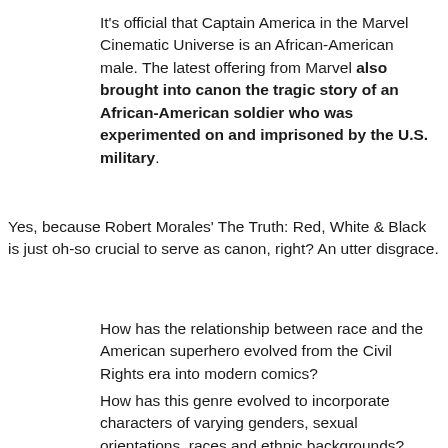It's official that Captain America in the Marvel Cinematic Universe is an African-American male. The latest offering from Marvel also brought into canon the tragic story of an African-American soldier who was experimented on and imprisoned by the U.S. military.
Yes, because Robert Morales' The Truth: Red, White & Black is just oh-so crucial to serve as canon, right? An utter disgrace.
How has the relationship between race and the American superhero evolved from the Civil Rights era into modern comics?
How has this genre evolved to incorporate characters of varying genders, sexual orientations, races and ethnic backgrounds? How have social and political issues been featured in superhero storylines?
How have these changes been received by fans...